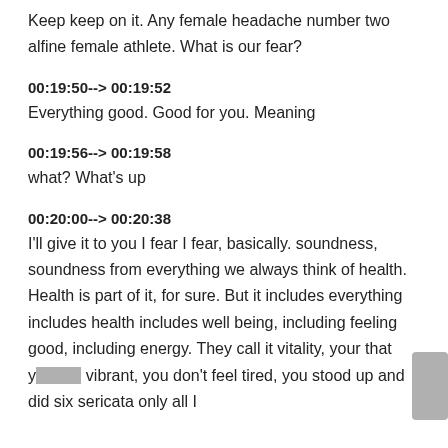Keep keep on it. Any female headache number two alfine female athlete. What is our fear?
00:19:50--> 00:19:52
Everything good. Good for you. Meaning
00:19:56--> 00:19:58
what? What's up
00:20:00--> 00:20:38
I'll give it to you I fear I fear, basically. soundness, soundness from everything we always think of health. Health is part of it, for sure. But it includes everything includes health includes well being, including feeling good, including energy. They call it vitality, your that you are vibrant, you don't feel tired, you stood up and did six sericata only all I